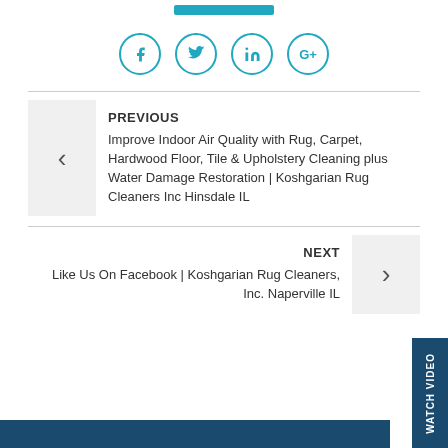[Figure (other): Teal/cyan horizontal button bar at top]
[Figure (other): Social media icon circles: Facebook (f), Twitter (bird), LinkedIn (in), Google+ (G+) in teal]
PREVIOUS
Improve Indoor Air Quality with Rug, Carpet, Hardwood Floor, Tile & Upholstery Cleaning plus Water Damage Restoration | Koshgarian Rug Cleaners Inc Hinsdale IL
NEXT
Like Us On Facebook | Koshgarian Rug Cleaners, Inc. Naperville IL
WATCH VIDEO